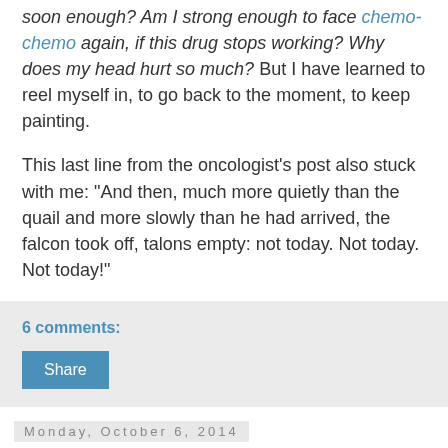soon enough? Am I strong enough to face chemo-chemo again, if this drug stops working? Why does my head hurt so much? But I have learned to reel myself in, to go back to the moment, to keep painting.
This last line from the oncologist's post also stuck with me: "And then, much more quietly than the quail and more slowly than he had arrived, the falcon took off, talons empty: not today. Not today. Not today!"
6 comments:
Share
Monday, October 6, 2014
Around the Web
In the chaos of the last week, I realized I've fallen behind on posting my finds from around the Internet (which I referred to as the "web" in a conversation with my college-age nephew this weekend, and he looked at me like I was eight). Here